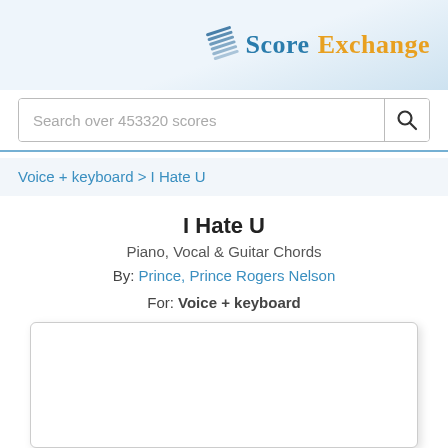Score Exchange
Search over 453320 scores
Voice + keyboard > I Hate U
I Hate U
Piano, Vocal & Guitar Chords
By: Prince, Prince Rogers Nelson
For: Voice + keyboard
[Figure (other): White rectangular score preview area with rounded corners and drop shadow]